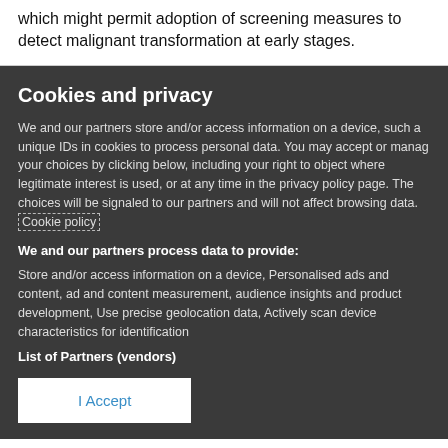which might permit adoption of screening measures to detect malignant transformation at early stages.
Cookies and privacy
We and our partners store and/or access information on a device, such a unique IDs in cookies to process personal data. You may accept or manag your choices by clicking below, including your right to object where legitimate interest is used, or at any time in the privacy policy page. The choices will be signaled to our partners and will not affect browsing data. Cookie policy
We and our partners process data to provide:
Store and/or access information on a device, Personalised ads and content, ad and content measurement, audience insights and product development, Use precise geolocation data, Actively scan device characteristics for identification
List of Partners (vendors)
I Accept